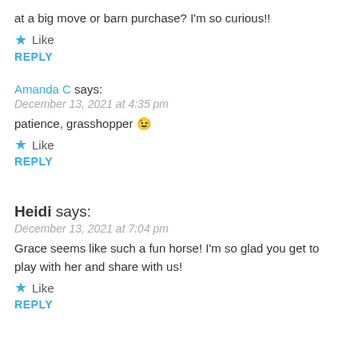at a big move or barn purchase? I'm so curious!!
★ Like
REPLY
Amanda C says:
December 13, 2021 at 4:35 pm
patience, grasshopper 😉
★ Like
REPLY
Heidi says:
December 13, 2021 at 7:04 pm
Grace seems like such a fun horse! I'm so glad you get to play with her and share with us!
★ Like
REPLY